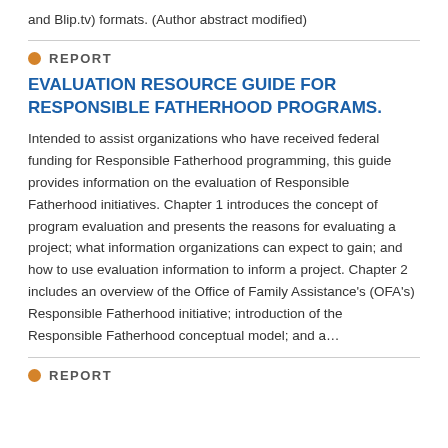and Blip.tv) formats. (Author abstract modified)
REPORT
EVALUATION RESOURCE GUIDE FOR RESPONSIBLE FATHERHOOD PROGRAMS.
Intended to assist organizations who have received federal funding for Responsible Fatherhood programming, this guide provides information on the evaluation of Responsible Fatherhood initiatives. Chapter 1 introduces the concept of program evaluation and presents the reasons for evaluating a project; what information organizations can expect to gain; and how to use evaluation information to inform a project. Chapter 2 includes an overview of the Office of Family Assistance's (OFA's) Responsible Fatherhood initiative; introduction of the Responsible Fatherhood conceptual model; and a…
REPORT